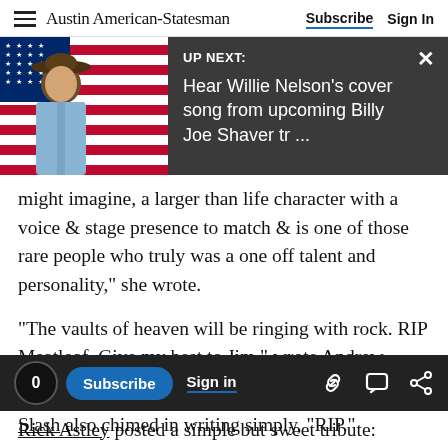Austin American-Statesman  Subscribe  Sign In
[Figure (screenshot): UP NEXT overlay banner with photo of person in cowboy hat against American flag background. Text reads: 'UP NEXT: Hear Willie Nelson's cover song from upcoming Billy Joe Shaver tr ...' with X close button]
might imagine, a larger than life character with a voice & stage presence to match & is one of those rare people who truly was a one off talent and personality," she wrote.
"The vaults of heaven will be ringing with rock. RIP Meatloaf. Give my best to Jim," wrote Andrew Lloyd Webber.
Rick Astley posted a simple but sweet tribute:
[Figure (screenshot): Bottom navigation bar with comment count 0, Subscribe button, Sign in link, and share icons (link, comment, share)]
Slash also chimed in writing simply, "RIP."